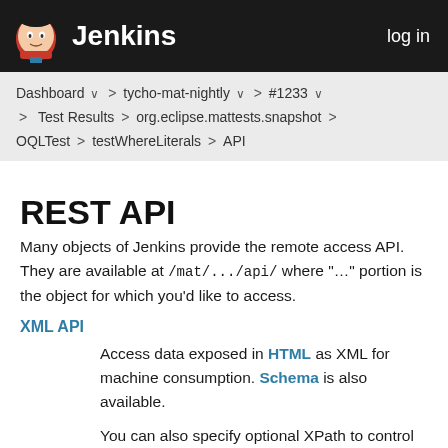Jenkins  log in
Dashboard > tycho-mat-nightly > #1233 > Test Results > org.eclipse.mattests.snapshot > OQLTest > testWhereLiterals > API
REST API
Many objects of Jenkins provide the remote access API. They are available at /mat/.../api/ where "..." portion is the object for which you'd like to access.
XML API
Access data exposed in HTML as XML for machine consumption. Schema is also available.
You can also specify optional XPath to control the fragment you'd like to obtain (but see below). For